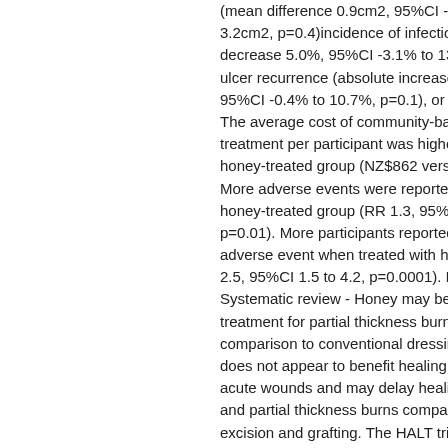(mean difference 0.9cm2, 95%CI -1.4cm2 3.2cm2, p=0.4)incidence of infection (absolute decrease 5.0%, 95%CI -3.1% to 13.1%, p= ulcer recurrence (absolute increase 5.2%, 95%CI -0.4% to 10.7%, p=0.1), or quality c The average cost of community-based treatment per participant was higher in the honey-treated group (NZ$862 versus NZ$ More adverse events were reported in the honey-treated group (RR 1.3, 95%CI 1.1 to p=0.01). More participants reported pain a adverse event when treated with honey (R 2.5, 95%CI 1.5 to 4.2, p=0.0001). Interpret Systematic review - Honey may be an effe treatment for partial thickness burns in comparison to conventional dressings. Ho does not appear to benefit healing in othe acute wounds and may delay healing in m and partial thickness burns compared to excision and grafting. The HALT trial - Hon impregnated dressings did not have any